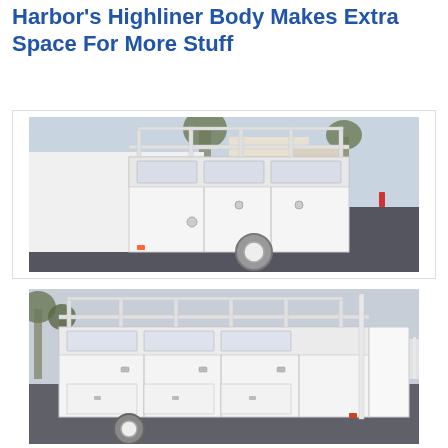Harbor's Highliner Body Makes Extra Space For More Stuff
[Figure (photo): White utility truck body (Highliner body) with ladder rack on top, multiple compartment doors visible, parked in a driveway/street setting with trees and houses in background.]
[Figure (photo): White utility truck body (Highliner body) viewed from rear-side angle, showing compartment doors and ladder rack, parked on a street.]